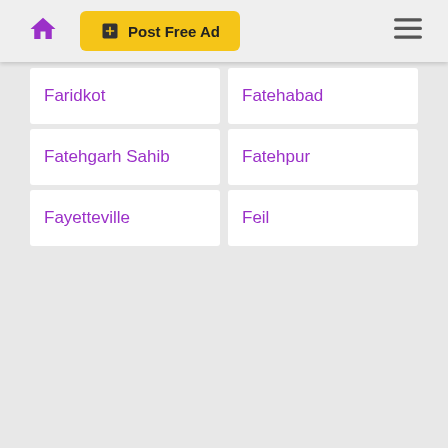Post Free Ad
Faridkot
Fatehabad
Fatehgarh Sahib
Fatehpur
Fayetteville
Feil